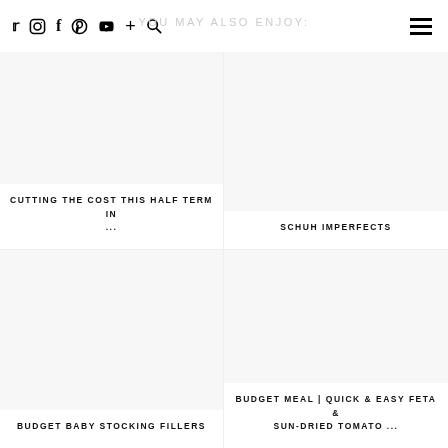YOU MAY ALSO ENJOY:
CUTTING THE COST THIS HALF TERM IN ...
SCHUH IMPERFECTS
BUDGET BABY STOCKING FILLERS
BUDGET MEAL | QUICK & EASY FETA & SUN-DRIED TOMATO ...